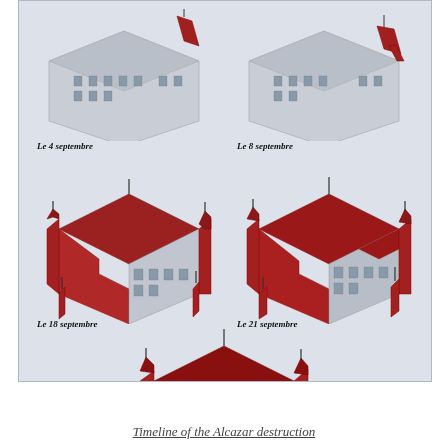[Figure (illustration): Five isometric 3D illustrations of the Alcazar building at different stages of destruction during September. Red areas show fire/destruction damage progressing over five dates: Le 4 septembre, Le 8 septembre, Le 18 septembre, Le 21 septembre, Le 27 septembre. Each successive image shows more red (destroyed/burning) sections replacing the gray stone structure.]
Timeline of the Alcazar destruction